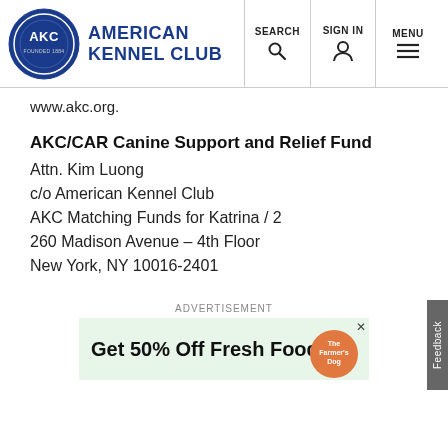American Kennel Club | SEARCH | SIGN IN | MENU
www.akc.org.
AKC/CAR Canine Support and Relief Fund
Attn. Kim Luong
c/o American Kennel Club
AKC Matching Funds for Katrina / 2
260 Madison Avenue – 4th Floor
New York, NY 10016-2401
ADVERTISEMENT
[Figure (other): Advertisement banner: Get 50% Off Fresh Food — The Farmer's Dog]